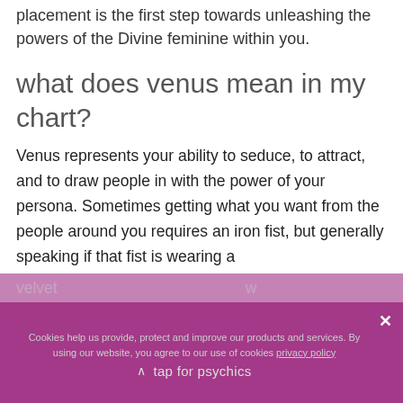placement is the first step towards unleashing the powers of the Divine feminine within you.
what does venus mean in my chart?
Venus represents your ability to seduce, to attract, and to draw people in with the power of your persona. Sometimes getting what you want from the people around you requires an iron fist, but generally speaking if that fist is wearing a velvet glove, you will win with psychics
Cookies help us provide, protect and improve our products and services. By using our website, you agree to our use of cookies privacy policy
tap for psychics